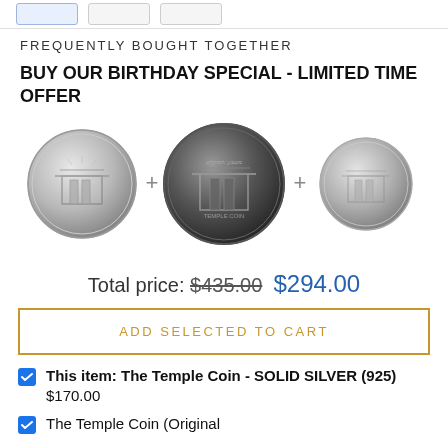FREQUENTLY BOUGHT TOGETHER
BUY OUR BIRTHDAY SPECIAL - LIMITED TIME OFFER
[Figure (photo): Three commemorative Temple Coins side by side separated by plus signs: a silver coin on the left, a dark antique coin in the center, and a smaller silver coin on the right.]
Total price: $435.00 $294.00
ADD SELECTED TO CART
This item: The Temple Coin - SOLID SILVER (925) $170.00
The Temple Coin (Original